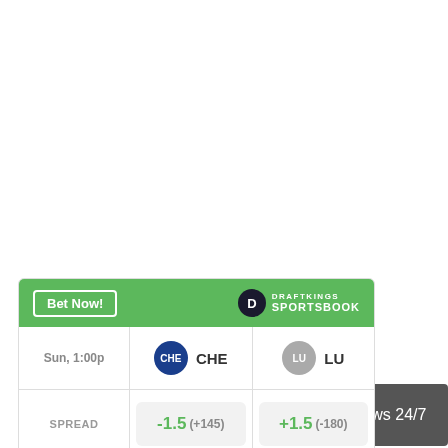[Figure (other): News Now banner - AS FEATURED ON NEWS NOW > Chelsea News 24/7]
|  | CHE | LU |
| --- | --- | --- |
| Sun, 1:00p | CHE | LU |
| SPREAD | -1.5  (+145) | +1.5  (-180) |
| MONEY LINE | -190 | +350  +500 |